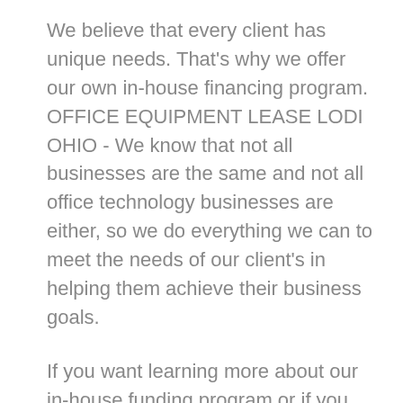We believe that every client has unique needs. That's why we offer our own in-house financing program. OFFICE EQUIPMENT LEASE LODI OHIO - We know that not all businesses are the same and not all office technology businesses are either, so we do everything we can to meet the needs of our client's in helping them achieve their business goals.
If you want learning more about our in-house funding program or if you simply want to have a conversation about your business needs, call us as well as ask for a conference with one of our organisation innovation experts. Allow us reveal you exactly how we are different as well as just